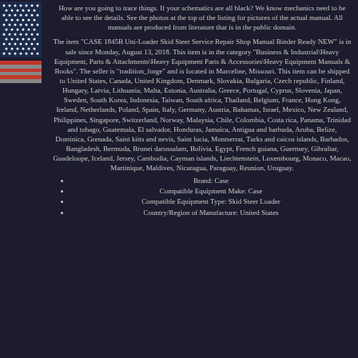[Figure (illustration): American flag graphic in two parts - top portion showing stars on blue background, bottom portion showing red and white stripes]
How are you going to trace things. If your schematics are all black? We know mechanics need to be able to see the details. See the photos at the top of the listing for pictures of the actual manual. All manuals are produced from literature that is in the public domain.
The item "CASE 1845B Uni-Loader Skid Steer Service Repair Shop Manual Binder Ready NEW" is in sale since Monday, August 13, 2018. This item is in the category "Business & Industrial\Heavy Equipment, Parts & Attachments\Heavy Equipment Parts & Accessories\Heavy Equipment Manuals & Books". The seller is "tradition_forge" and is located in Marceline, Missouri. This item can be shipped to United States, Canada, United Kingdom, Denmark, Slovakia, Bulgaria, Czech republic, Finland, Hungary, Latvia, Lithuania, Malta, Estonia, Australia, Greece, Portugal, Cyprus, Slovenia, Japan, Sweden, South Korea, Indonesia, Taiwan, South africa, Thailand, Belgium, France, Hong Kong, Ireland, Netherlands, Poland, Spain, Italy, Germany, Austria, Bahamas, Israel, Mexico, New Zealand, Philippines, Singapore, Switzerland, Norway, Malaysia, Chile, Colombia, Costa rica, Panama, Trinidad and tobago, Guatemala, El salvador, Honduras, Jamaica, Antigua and barbuda, Aruba, Belize, Dominica, Grenada, Saint kitts and nevis, Saint lucia, Montserrat, Turks and caicos islands, Barbados, Bangladesh, Bermuda, Brunei darussalam, Bolivia, Egypt, French guiana, Guernsey, Gibraltar, Guadeloupe, Iceland, Jersey, Cambodia, Cayman islands, Liechtenstein, Luxembourg, Monaco, Macao, Martinique, Maldives, Nicaragua, Paraguay, Reunion, Uruguay.
Brand: Case
Compatible Equipment Make: Case
Compatible Equipment Type: Skid Steer Loader
Country/Region of Manufacture: United States